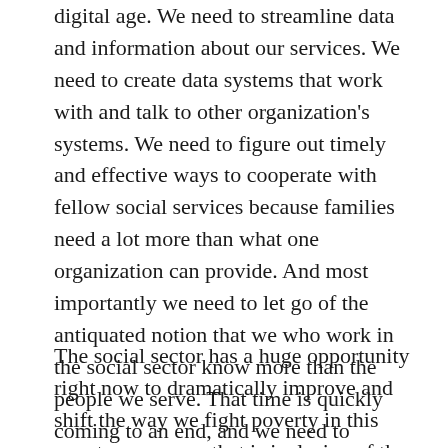digital age. We need to streamline data and information about our services. We need to create data systems that work with and talk to other organization's systems. We need to figure out timely and effective ways to cooperate with fellow social services because families need a lot more than what one organization can provide. And most importantly we need to let go of the antiquated notion that we who work in the social sector know more than the people we serve. That time is quickly coming to an end, and we need to embrace it, evolve, and serve people in the new ways they need to be served.
The social sector has a huge opportunity right now to dramatically improve and shift the way we fight poverty in this country — a way that is inclusive of the people and voices in low-income communities